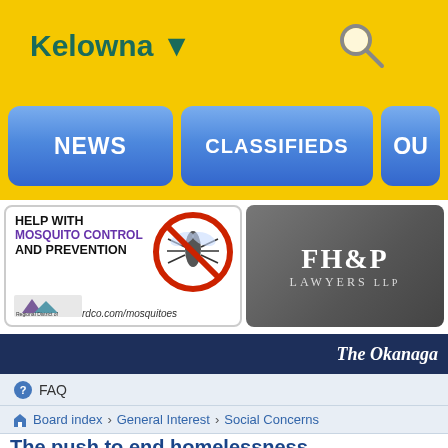Kelowna ▼
[Figure (screenshot): Navigation buttons: NEWS, CLASSIFIEDS, OU(T)]
[Figure (illustration): Ad banner: HELP WITH MOSQUITO CONTROL AND PREVENTION - rdco.com/mosquitoes with mosquito in red prohibition circle]
[Figure (logo): FH&P LAWYERS LLP advertisement banner]
The Okanaga
FAQ
Board index › General Interest › Social Concerns
The push to end homelessness,